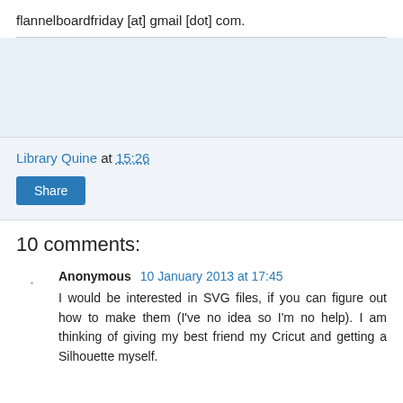flannelboardfriday [at] gmail [dot] com.
Library Quine at 15:26
Share
10 comments:
Anonymous  10 January 2013 at 17:45
I would be interested in SVG files, if you can figure out how to make them (I've no idea so I'm no help). I am thinking of giving my best friend my Cricut and getting a Silhouette myself.